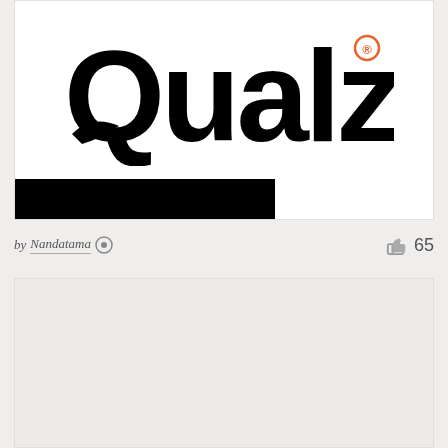[Figure (logo): Qualzy logo — large bold black sans-serif text 'Qualzy' with a registered trademark symbol in orange, featuring a stylized wing or feather beneath the Q. Below the logo text is a solid black rectangle bar.]
by Nandatama  65